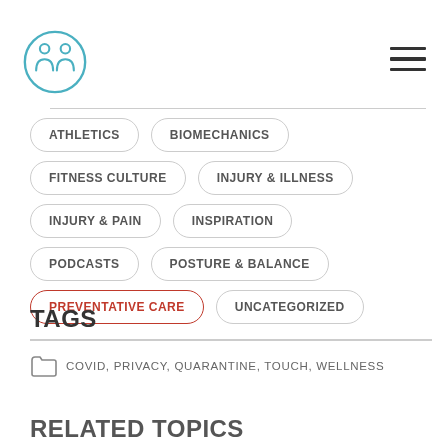[Figure (logo): Circular logo with two person icons and letter M, teal/blue color]
ATHLETICS
BIOMECHANICS
FITNESS CULTURE
INJURY & ILLNESS
INJURY & PAIN
INSPIRATION
PODCASTS
POSTURE & BALANCE
PREVENTATIVE CARE
UNCATEGORIZED
TAGS
COVID, PRIVACY, QUARANTINE, TOUCH, WELLNESS
RELATED TOPICS